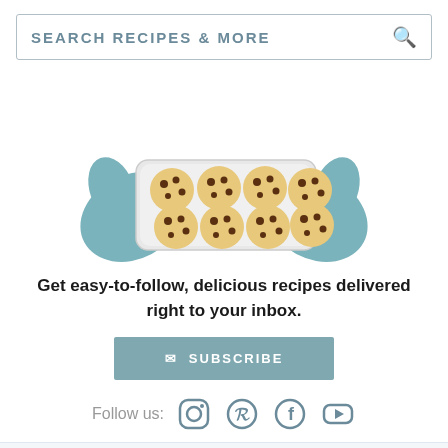SEARCH RECIPES & MORE
[Figure (illustration): Hands holding a baking tray with 8 chocolate chip cookies on it]
Get easy-to-follow, delicious recipes delivered right to your inbox.
SUBSCRIBE
Follow us: [Instagram] [Pinterest] [Facebook] [YouTube]
Recipes | Cocktails | About Us | Ad
We help people find answers, solve problems and get inspired. Dotdash meredith